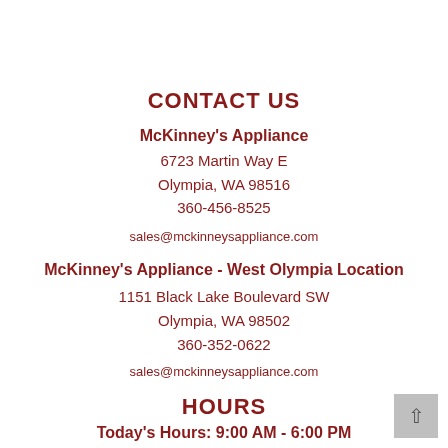CONTACT US
McKinney's Appliance
6723 Martin Way E
Olympia, WA 98516
360-456-8525
sales@mckinneysappliance.com
McKinney's Appliance - West Olympia Location
1151 Black Lake Boulevard SW
Olympia, WA 98502
360-352-0622
sales@mckinneysappliance.com
HOURS
Today's Hours: 9:00 AM - 6:00 PM
STAY CONNECTED